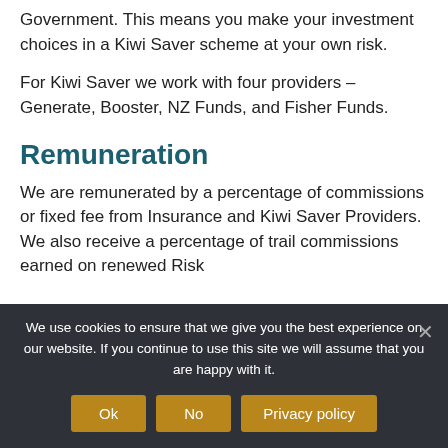Government. This means you make your investment choices in a Kiwi Saver scheme at your own risk.
For Kiwi Saver we work with four providers – Generate, Booster, NZ Funds, and Fisher Funds.
Remuneration
We are remunerated by a percentage of commissions or fixed fee from Insurance and Kiwi Saver Providers. We also receive a percentage of trail commissions earned on renewed Risk
We use cookies to ensure that we give you the best experience on our website. If you continue to use this site we will assume that you are happy with it.